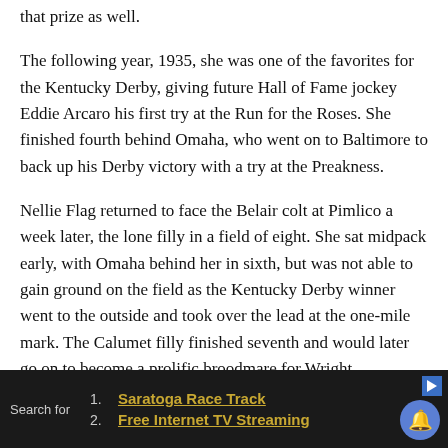that prize as well.
The following year, 1935, she was one of the favorites for the Kentucky Derby, giving future Hall of Fame jockey Eddie Arcaro his first try at the Run for the Roses. She finished fourth behind Omaha, who went on to Baltimore to back up his Derby victory with a try at the Preakness.
Nellie Flag returned to face the Belair colt at Pimlico a week later, the lone filly in a field of eight. She sat midpack early, with Omaha behind her in sixth, but was not able to gain ground on the field as the Kentucky Derby winner went to the outside and took over the lead at the one-mile mark. The Calumet filly finished seventh and would later go on to become a prolific broodmare for Wright, producing top foals including
1. Saratoga Race Track
2. Free Internet TV Streaming